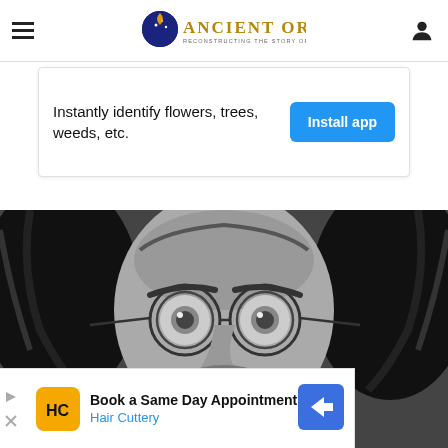Ancient Origins — Reconstructing the Story of Humanity's Past
[Figure (other): Advertisement banner: Instantly identify flowers, trees, weeds, etc. with Install app button]
[Figure (photo): Black and white close-up photograph of a man with long hair and round glasses, looking directly at camera]
[Figure (other): Advertisement overlay: Book a Same Day Appointment — Hair Cuttery, with blue directional arrow icon]